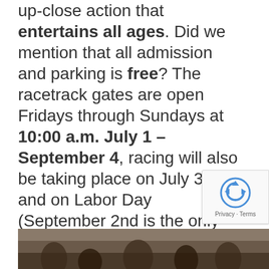up-close action that entertains all ages. Did we mention that all admission and parking is free? The racetrack gates are open Fridays through Sundays at 10:00 a.m. July 1 – September 4, racing will also be taking place on July 3-4 and on Labor Day (September 2nd is the only day where there is no racing).
We can't wait for you, your family, and friends to spend a summer at the races! We've highlighted all the special events and weekly promotions so that you don't miss a beat, scroll for more information!
[Figure (photo): Partial photo strip at bottom showing people at a racetrack event]